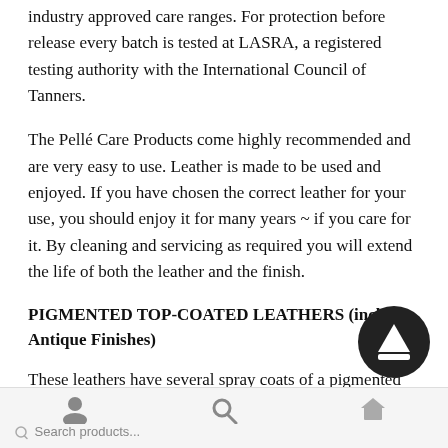industry approved care ranges. For protection before release every batch is tested at LASRA, a registered testing authority with the International Council of Tanners.
The Pellé Care Products come highly recommended and are very easy to use. Leather is made to be used and enjoyed. If you have chosen the correct leather for your use, you should enjoy it for many years ~ if you care for it. By cleaning and servicing as required you will extend the life of both the leather and the finish.
PIGMENTED TOP-COATED LEATHERS (includes Antique Finishes)
These leathers have several spray coats of a pigmented (paint like) finish giving a depth to the colour, plus a clear
Search products...